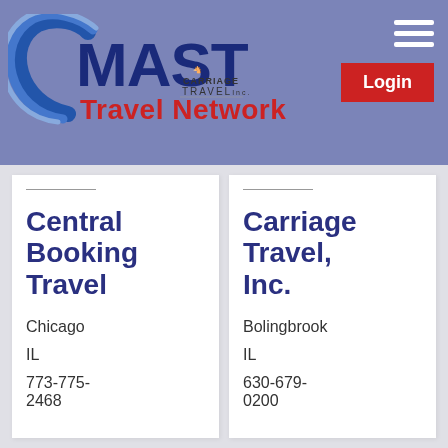[Figure (logo): MAST Travel Network logo with blue swoosh on left, MAST in dark blue bold, Travel Network in red, plus Carriage Travel Inc logo]
Login
Central Booking Travel
Chicago
IL
773-775-2468
Carriage Travel, Inc.
Bolingbrook
IL
630-679-0200